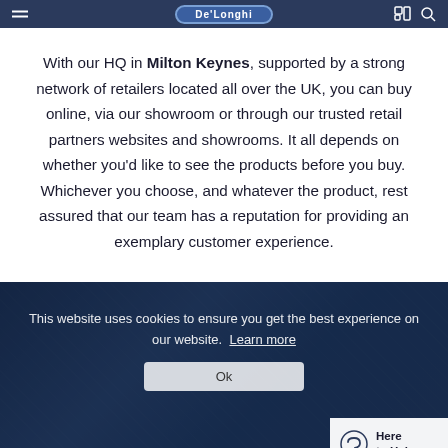De'Longhi header navigation
With our HQ in Milton Keynes, supported by a strong network of retailers located all over the UK, you can buy online, via our showroom or through our trusted retail partners websites and showrooms. It all depends on whether you'd like to see the products before you buy. Whichever you choose, and whatever the product, rest assured that our team has a reputation for providing an exemplary customer experience.
[Figure (screenshot): Background photo of industrial/workshop setting with a cookie consent banner overlay. The banner reads: 'This website uses cookies to ensure you get the best experience on our website. Learn more' with an Ok button. A 'Here to Help' widget appears in the bottom right corner.]